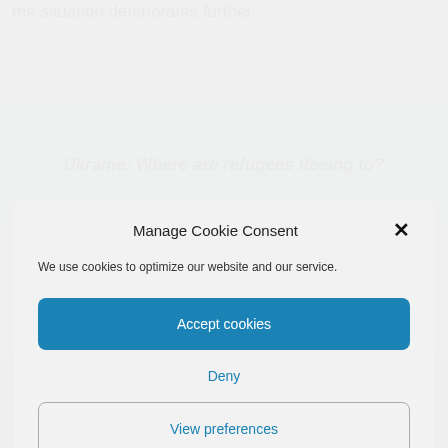the situation deteriorates further.
[Figure (map): Ukraine: Where are refugees fleeing to? Map with label showing OTHER EUROPEAN COUNTRIES 88,147 and a number 97,027]
Manage Cookie Consent
We use cookies to optimize our website and our service.
Accept cookies
Deny
View preferences